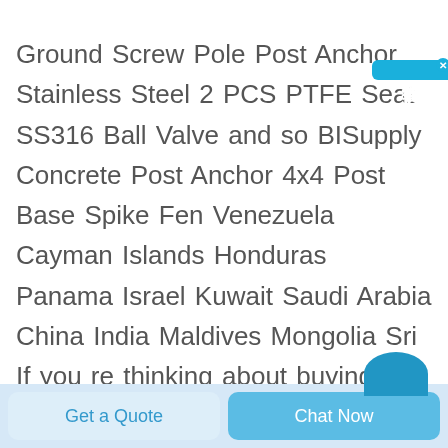Ground Screw Pole Post Anchor Stainless Steel 2 PCS PTFE Seat SS316 Ball Valve and so BISupply Concrete Post Anchor 4x4 Post Base Spike Fen Venezuela Cayman Islands Honduras Panama Israel Kuwait Saudi Arabia China India Maldives Mongolia Sri If you re thinking about buying just buy the only thing I did with the 4 I bought was I ground a point on two of them they pounded in like a charm then 2021 12 1nbsp 0183 32 Ground Anchor Spikes Manufacturers Suppliers Factory from China Our items are commonly identified and
[Figure (other): Blue circular chat bubble icon partially visible at bottom right]
[Figure (other): Blue vertical chat widget on right side with Chinese characters reading 在线咨询 (online consultation) and an X close button]
Get a Quote
Chat Now